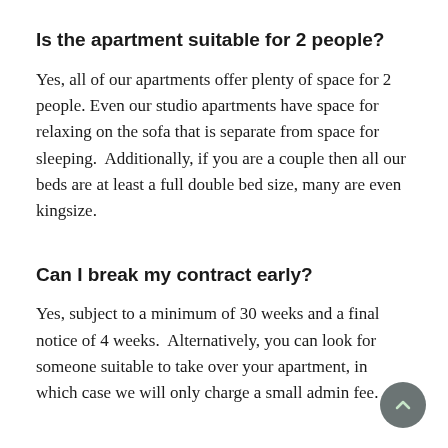Is the apartment suitable for 2 people?
Yes, all of our apartments offer plenty of space for 2 people. Even our studio apartments have space for relaxing on the sofa that is separate from space for sleeping.  Additionally, if you are a couple then all our beds are at least a full double bed size, many are even kingsize.
Can I break my contract early?
Yes, subject to a minimum of 30 weeks and a final notice of 4 weeks.  Alternatively, you can look for someone suitable to take over your apartment, in which case we will only charge a small admin fee.